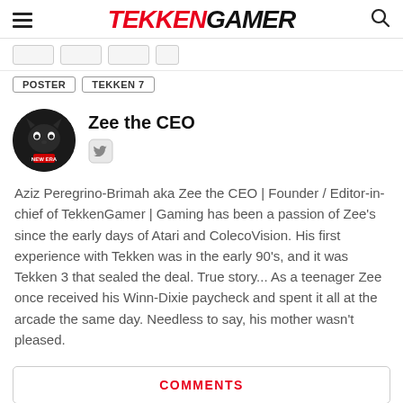TEKKENGAMER
POSTER
TEKKEN 7
Zee the CEO
Aziz Peregrino-Brimah aka Zee the CEO | Founder / Editor-in-chief of TekkenGamer | Gaming has been a passion of Zee's since the early days of Atari and ColecoVision. His first experience with Tekken was in the early 90's, and it was Tekken 3 that sealed the deal. True story... As a teenager Zee once received his Winn-Dixie paycheck and spent it all at the arcade the same day. Needless to say, his mother wasn't pleased.
COMMENTS